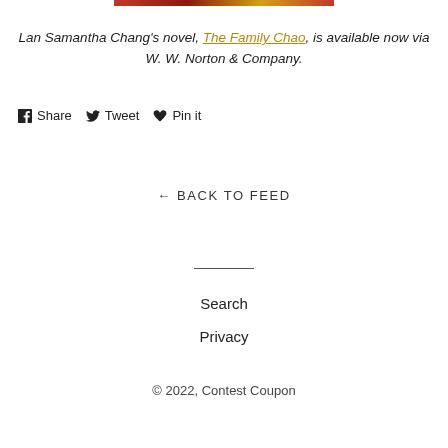[Figure (illustration): Decorative horizontal banner image strip at the top of the page showing a colorful pattern with red and gold tones, partial book cover image.]
Lan Samantha Chang's novel, The Family Chao, is available now via W. W. Norton & Company.
f Share
d Tweet
♥ Pin it
← BACK TO FEED
Search
Privacy
© 2022, Contest Coupon